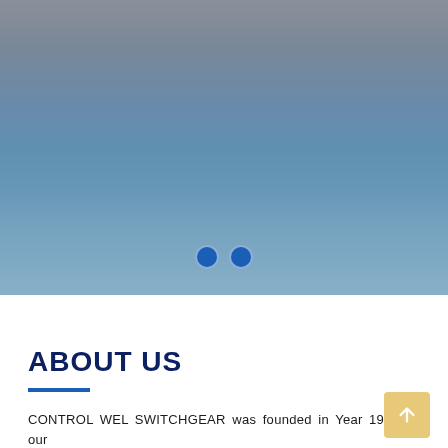[Figure (photo): Hero/banner image with a gradient background transitioning from grey-blue at the top to lighter blue at the bottom, with two blue circular dot indicators near the bottom center of the image area.]
ABOUT US
CONTROL WEL SWITCHGEAR was founded in Year 1995 by our